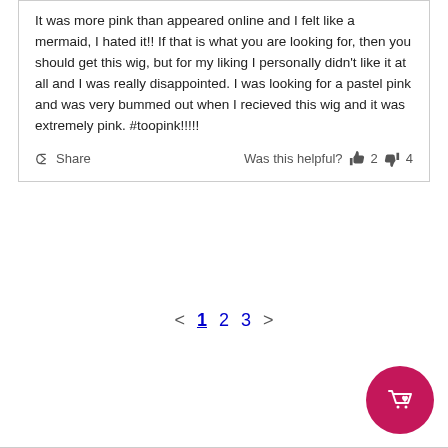It was more pink than appeared online and I felt like a mermaid, I hated it!! If that is what you are looking for, then you should get this wig, but for my liking I personally didn't like it at all and I was really disappointed. I was looking for a pastel pink and was very bummed out when I recieved this wig and it was extremely pink. #toopink!!!!!
Share | Was this helpful? 👍 2 👎 4
< 1 2 3 >
[Figure (illustration): Pink circular shopping cart button with heart icon in bottom right corner]